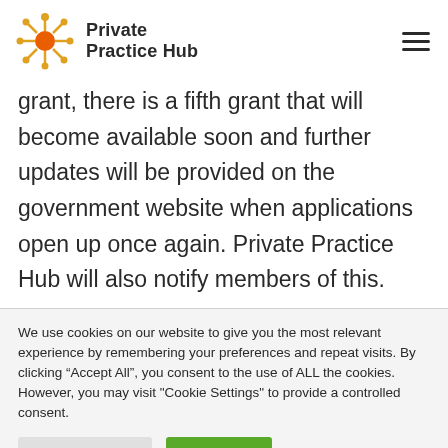Private Practice Hub
grant, there is a fifth grant that will become available soon and further updates will be provided on the government website when applications open up once again. Private Practice Hub will also notify members of this.
We use cookies on our website to give you the most relevant experience by remembering your preferences and repeat visits. By clicking “Accept All”, you consent to the use of ALL the cookies. However, you may visit "Cookie Settings" to provide a controlled consent.